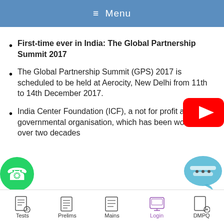Menu
First-time ever in India: The Global Partnership Summit 2017
The Global Partnership Summit (GPS) 2017 is scheduled to be held at Aerocity, New Delhi from 11th to 14th December 2017.
India Center Foundation (ICF), a not for profit and non-governmental organisation, which has been working for over two decades
Tests  Prelims  Mains  Login  DMPQ